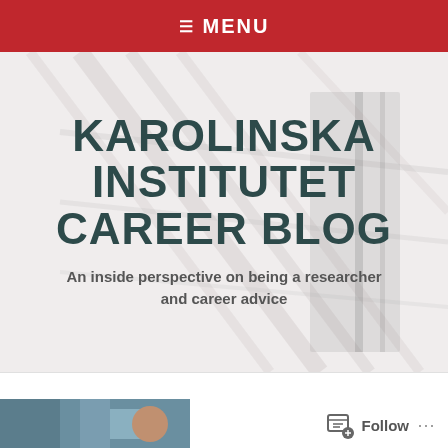≡ MENU
KAROLINSKA INSTITUTET CAREER BLOG
An inside perspective on being a researcher and career advice
[Figure (screenshot): Bottom bar with a partial image on the left and a Follow button with ellipsis on the right]